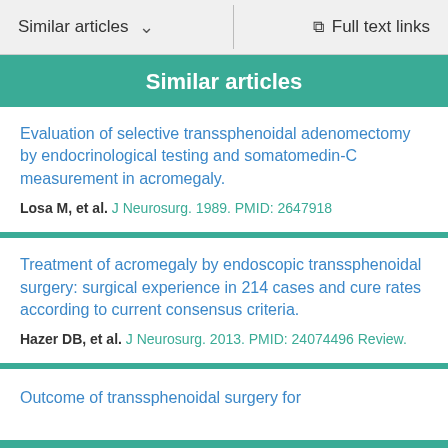Similar articles  ∨    Full text links
Similar articles
Evaluation of selective transsphenoidal adenomectomy by endocrinological testing and somatomedin-C measurement in acromegaly.
Losa M, et al. J Neurosurg. 1989. PMID: 2647918
Treatment of acromegaly by endoscopic transsphenoidal surgery: surgical experience in 214 cases and cure rates according to current consensus criteria.
Hazer DB, et al. J Neurosurg. 2013. PMID: 24074496 Review.
Outcome of transsphenoidal surgery for